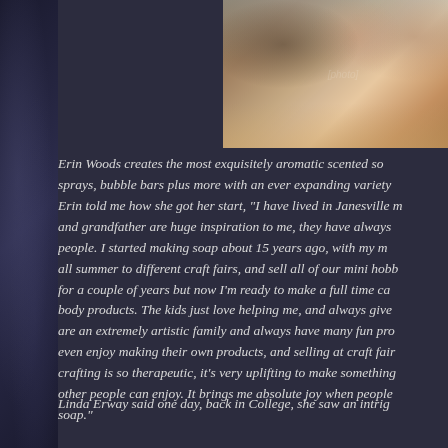[Figure (photo): Three children sitting outdoors holding colorful handmade soaps on a tray at what appears to be a craft fair]
Erin Woods creates the most exquisitely aromatic scented soaps, sprays, bubble bars plus more with an ever expanding variety. Erin told me how she got her start, "I have lived in Janesville my whole life, and grandfather are huge inspiration to me, they have always loved helping people. I started making soap about 15 years ago, with my mom, we would go all summer to different craft fairs, and sell all of our mini hobby items. I did it for a couple of years but now I'm ready to make a full time career out of body products. The kids just love helping me, and always give great ideas. We are an extremely artistic family and always have many fun projects going. They even enjoy making their own products, and selling at craft fairs. I think crafting is so therapeutic, it's very uplifting to make something beautiful that other people can enjoy. It brings me absolute joy when people love my soap."
Linda Erway said one day, back in College, she saw an intrigu...